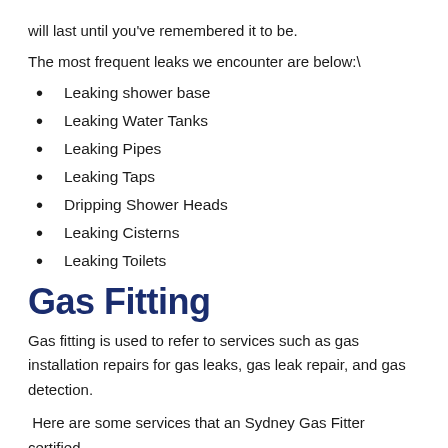will last until you've remembered it to be.
The most frequent leaks we encounter are below:\
Leaking shower base
Leaking Water Tanks
Leaking Pipes
Leaking Taps
Dripping Shower Heads
Leaking Cisterns
Leaking Toilets
Gas Fitting
Gas fitting is used to refer to services such as gas installation repairs for gas leaks, gas leak repair, and gas detection.
Here are some services that an Sydney Gas Fitter certified